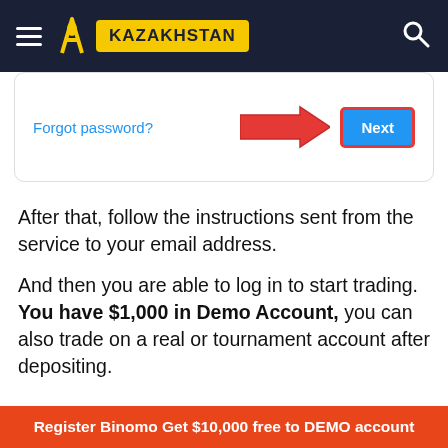KAZAKHSTAN
[Figure (screenshot): Screenshot of a login form showing 'Forgot password?' link in blue, a red right-pointing arrow, and a blue 'Next' button with a red border highlight.]
After that, follow the instructions sent from the service to your email address.
And then you are able to log in to start trading. You have $1,000 in Demo Account, you can also trade on a real or tournament account after depositing.
Register Binomo Get $10,000 free to DEMO account